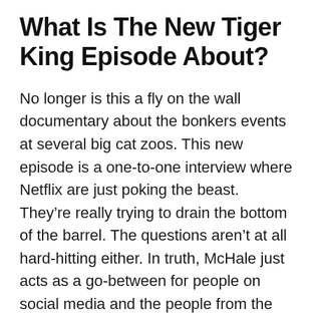What Is The New Tiger King Episode About?
No longer is this a fly on the wall documentary about the bonkers events at several big cat zoos. This new episode is a one-to-one interview where Netflix are just poking the beast. They’re really trying to drain the bottom of the barrel. The questions aren’t at all hard-hitting either. In truth, McHale just acts as a go-between for people on social media and the people from the show.
If I’m honest, there was one particular question that was warranted. Saff Saffery